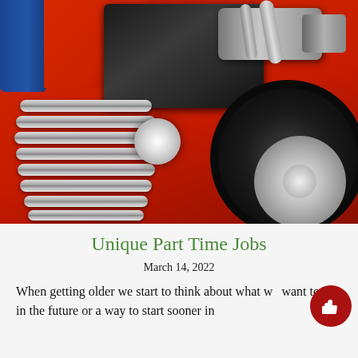[Figure (photo): A classic red hot rod truck with chrome grill, supercharged engine visible under open hood, Cooper Cobra tires, and chrome wheels, photographed in a garage]
Unique Part Time Jobs
March 14, 2022
When getting older we start to think about what we want to do in the future or a way to start sooner in